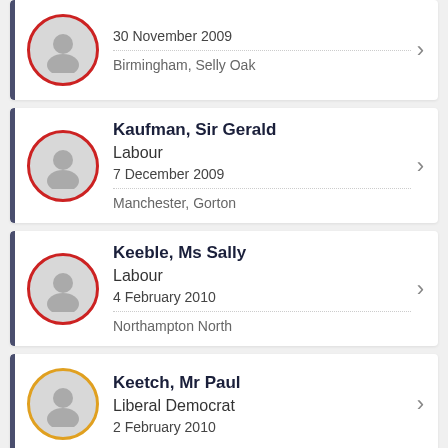30 November 2009 | Birmingham, Selly Oak
Kaufman, Sir Gerald | Labour | 7 December 2009 | Manchester, Gorton
Keeble, Ms Sally | Labour | 4 February 2010 | Northampton North
Keetch, Mr Paul | Liberal Democrat | 2 February 2010